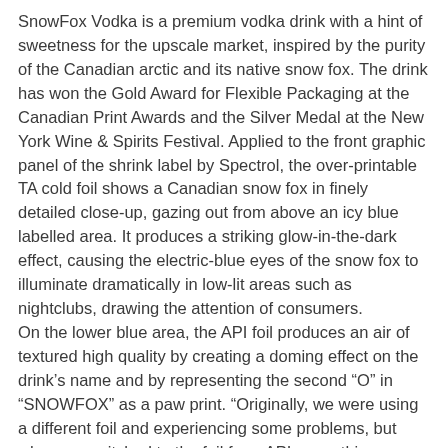SnowFox Vodka is a premium vodka drink with a hint of sweetness for the upscale market, inspired by the purity of the Canadian arctic and its native snow fox. The drink has won the Gold Award for Flexible Packaging at the Canadian Print Awards and the Silver Medal at the New York Wine & Spirits Festival. Applied to the front graphic panel of the shrink label by Spectrol, the over-printable TA cold foil shows a Canadian snow fox in finely detailed close-up, gazing out from above an icy blue labelled area. It produces a striking glow-in-the-dark effect, causing the electric-blue eyes of the snow fox to illuminate dramatically in low-lit areas such as nightclubs, drawing the attention of consumers.
On the lower blue area, the API foil produces an air of textured high quality by creating a doming effect on the drink’s name and by representing the second “O” in “SNOWFOX” as a paw print. “Originally, we were using a different foil and experiencing some problems, but when we switched to the foil from API, everything clicked into place,” explains Vishal Sahadeo, Account Manager at Spectrol. “We wanted to create an effect that wasn’t already available on the shelf, and the result, with the amazing blue eyes of the snow fox, certainly achieves this. It’s one of the most